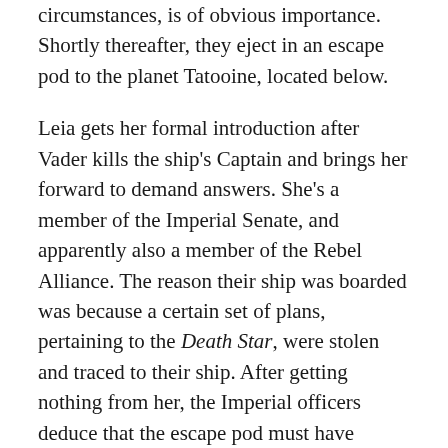…something to the family, which under the circumstances, is of obvious importance. Shortly thereafter, they eject in an escape pod to the planet Tatooine, located below.
Leia gets her formal introduction after Vader kills the ship's Captain and brings her forward to demand answers. She's a member of the Imperial Senate, and apparently also a member of the Rebel Alliance. The reason their ship was boarded was because a certain set of plans, pertaining to the Death Star, were stolen and traced to their ship. After getting nothing from her, the Imperial officers deduce that the escape pod must have contained them and pursue it to Tatooine's surface.
In time, C3P0 and R2D2 wind up becoming the property of a moisture farmer named Owen Lars…